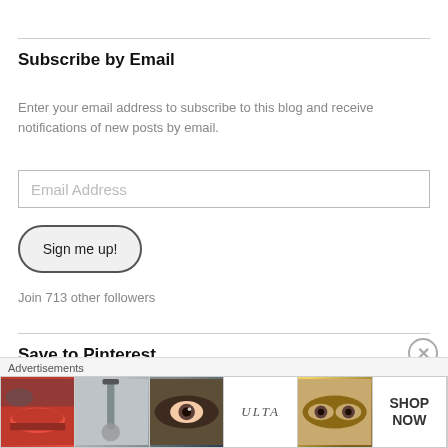Subscribe by Email
Enter your email address to subscribe to this blog and receive notifications of new posts by email.
Email Address
Sign me up!
Join 713 other followers
Save to Pinterest
Save
Advertisements
[Figure (photo): ULTA Beauty advertisement banner with makeup photos including lips, brush, eye, ULTA logo, eyes closeup, and SHOP NOW text]